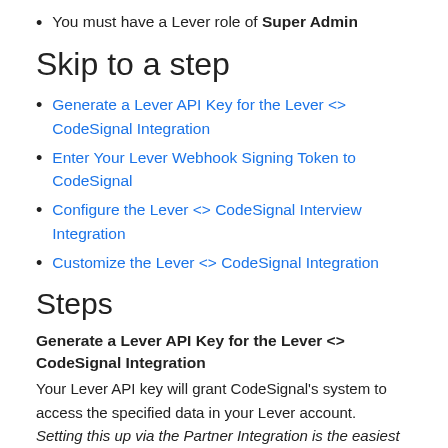You must have a Lever role of Super Admin
Skip to a step
Generate a Lever API Key for the Lever <> CodeSignal Integration
Enter Your Lever Webhook Signing Token to CodeSignal
Configure the Lever <> CodeSignal Interview Integration
Customize the Lever <> CodeSignal Integration
Steps
Generate a Lever API Key for the Lever <> CodeSignal Integration
Your Lever API key will grant CodeSignal's system to access the specified data in your Lever account.
Setting this up via the Partner Integration is the easiest